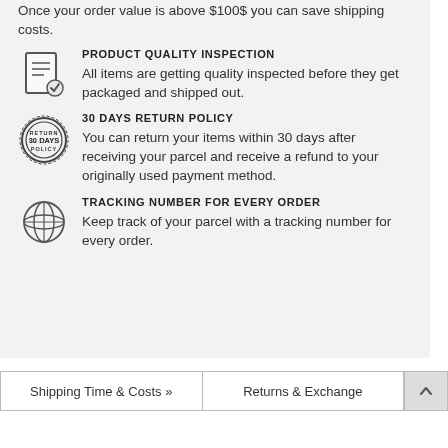Once your order value is above $100$ you can save shipping costs.
PRODUCT QUALITY INSPECTION
All items are getting quality inspected before they get packaged and shipped out.
30 DAYS RETURN POLICY
You can return your items within 30 days after receiving your parcel and receive a refund to your originally used payment method.
TRACKING NUMBER FOR EVERY ORDER
Keep track of your parcel with a tracking number for every order.
Shipping Time & Costs »
Returns & Exchange